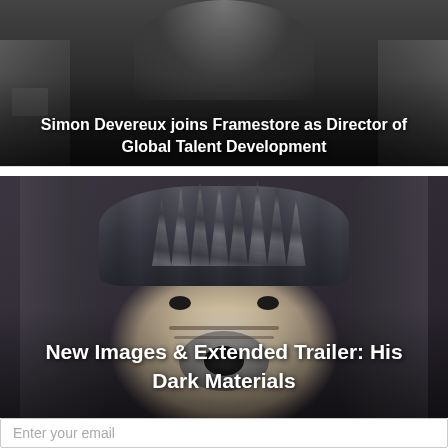[Figure (photo): Black and white photo of a person (partially visible, dark background with stone wall) with white bold text overlay reading 'Simon Devereux joins Framestore as Director of Global Talent Development']
Simon Devereux joins Framestore as Director of Global Talent Development
[Figure (photo): Close-up photo of a CGI armored polar bear (Iorek Byrnison from His Dark Materials) with dark stone armor on its head, set against a dark archway background. White bold text overlay reads 'New Images & Extended Trailer: His Dark Materials']
New Images & Extended Trailer: His Dark Materials
Enter your email